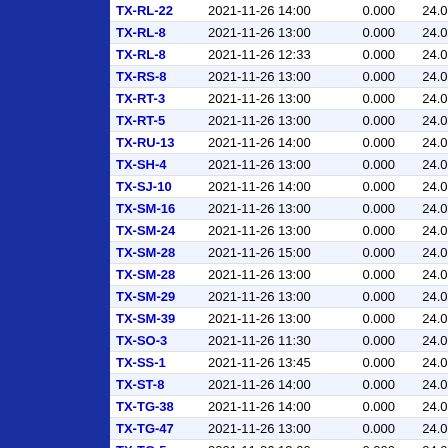| ID | DateTime | Value1 | Value2 |
| --- | --- | --- | --- |
| TX-RL-8 | 2021-11-26 13:00 | 0.000 | 24.000 |
| TX-RL-8 | 2021-11-26 12:33 | 0.000 | 24.000 |
| TX-RS-8 | 2021-11-26 13:00 | 0.000 | 24.000 |
| TX-RT-3 | 2021-11-26 13:00 | 0.000 | 24.000 |
| TX-RT-5 | 2021-11-26 13:00 | 0.000 | 24.000 |
| TX-RU-13 | 2021-11-26 14:00 | 0.000 | 24.000 |
| TX-SH-4 | 2021-11-26 13:00 | 0.000 | 24.000 |
| TX-SJ-10 | 2021-11-26 14:00 | 0.000 | 24.000 |
| TX-SM-16 | 2021-11-26 13:00 | 0.000 | 24.000 |
| TX-SM-24 | 2021-11-26 13:00 | 0.000 | 24.000 |
| TX-SM-28 | 2021-11-26 15:00 | 0.000 | 24.000 |
| TX-SM-28 | 2021-11-26 13:00 | 0.000 | 24.000 |
| TX-SM-29 | 2021-11-26 13:00 | 0.000 | 24.000 |
| TX-SM-39 | 2021-11-26 13:00 | 0.000 | 24.000 |
| TX-SO-3 | 2021-11-26 11:30 | 0.000 | 24.000 |
| TX-SS-1 | 2021-11-26 13:45 | 0.000 | 24.000 |
| TX-ST-8 | 2021-11-26 14:00 | 0.000 | 24.000 |
| TX-TG-38 | 2021-11-26 14:00 | 0.000 | 24.000 |
| TX-TG-47 | 2021-11-26 13:00 | 0.000 | 24.000 |
| TX-TG-5 | 2021-11-26 13:00 | 0.000 | 24.000 |
| TX-TG-71 | 2021-11-26 13:00 | 0.000 | 24.000 |
| TX-TG-72 | 2021-11-26 13:00 | 0.000 | 24.000 |
| TX-TL-1 | 2021-11-26 14:00 | 0.000 | 24.000 |
| TX-TN-102 | 2021-11-26 13:00 | 0.000 | 24.000 |
| TX-TN-106 | 2021-11-26 13:00 | 0.000 | 24.000 |
| TX-TN- | 2021-11-26 14:31 | 0.000 | 24.000 |